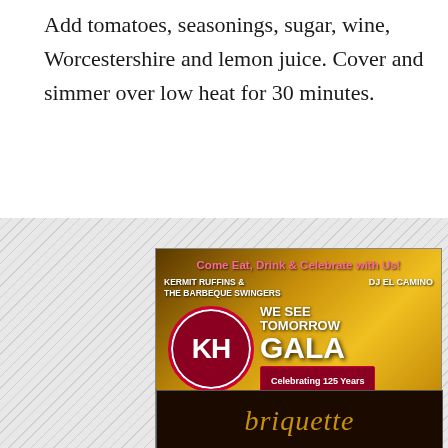Add tomatoes, seasonings, sugar, wine, Worcestershire and lemon juice. Cover and simmer over low heat for 30 minutes.
[Figure (illustration): Kingsley House 'We See Tomorrow Gala' advertisement with golden bokeh background. Features KH logo in red circle, performers Kermit Ruffins & The Barbeque Swingers and DJ El Camino, event details: September 22, Audubon Tea Room, Celebrating 125 Years, tickets at www.kingsleyhouse.org/gala]
[Figure (illustration): Briquette restaurant advertisement showing the word 'briquette' in gold italic text on dark background]